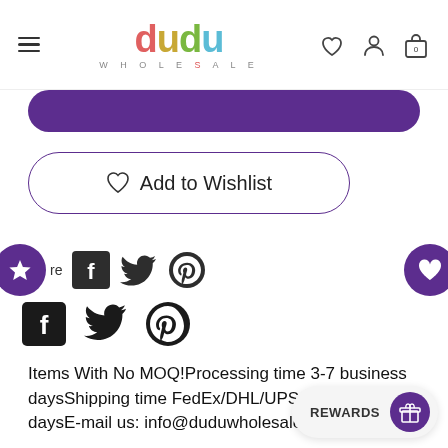[Figure (logo): Dudu Wholesale logo with colorful letters and subtitle WHOLESALE]
[Figure (illustration): Purple add to cart button (partially visible at top)]
[Figure (illustration): Add to Wishlist button with heart icon, purple outline, rounded]
[Figure (illustration): Share section with purple star badge, 're' text, Facebook, Twitter, Pinterest icons, and purple heart badge on right]
Items With No MOQ!Processing time  3-7 business daysShipping time FedEx/DHL/UPS 5~10 working daysE-mail us: info@duduwholesale.com
[Figure (illustration): Rewards button with gift icon in purple circle]